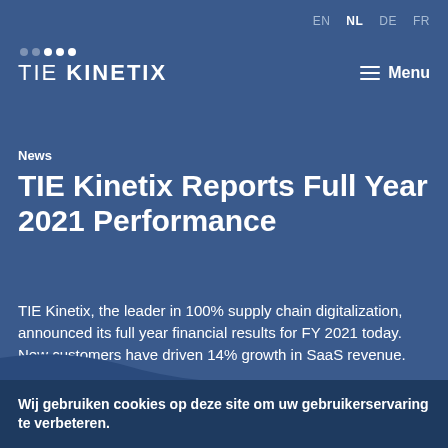EN  NL  DE  FR
[Figure (logo): TIE Kinetix logo with dots above text on blue background]
Menu
News
TIE Kinetix Reports Full Year 2021 Performance
TIE Kinetix, the leader in 100% supply chain digitalization, announced its full year financial results for FY 2021 today. New customers have driven 14% growth in SaaS revenue.
Wij gebruiken cookies op deze site om uw gebruikerservaring te verbeteren.